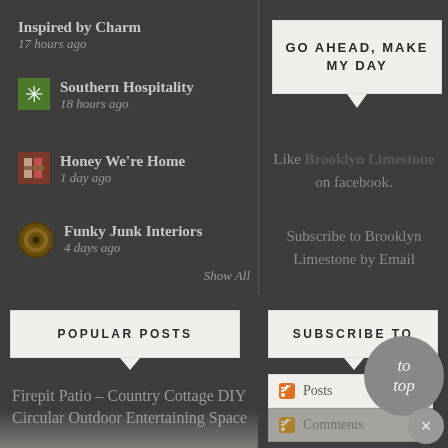Inspired by Charm
17 hours ago
Southern Hospitality
18 hours ago
Honey We're Home
1 day ago
Funky Junk Interiors
4 days ago
Show All
[Figure (infographic): Speech bubble box saying GO AHEAD, MAKE MY DAY]
Like Brooklyn Limestone on facebook.
Subscribe to Brooklyn Limestone by Email
[Figure (infographic): POPULAR POSTS section label with speech bubble tail]
Firepit Patio – Country Cottage DIY Circular Outdoor Entertaining Space
[Figure (infographic): SUBSCRIBE TO section label with speech bubble tail]
Posts
Comments
to top